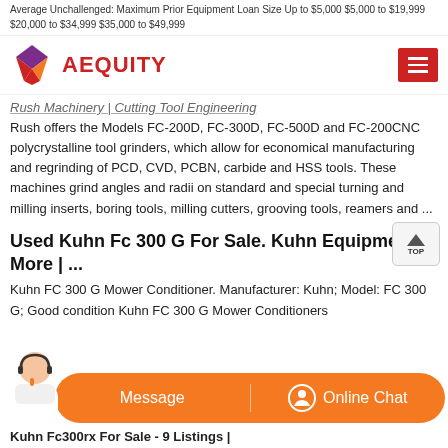Average Unchallenged: Maximum Prior Equipment Loan Size Up to $5,000 $5,000 to $19,999 $20,000 to $34,999 $35,000 to $49,999
[Figure (logo): Aequity logo with geometric diamond shape in purple/red/orange and red text AEQUITY, with hamburger menu button on right]
Rush Machinery | Cutting Tool Engineering
Rush offers the Models FC-200D, FC-300D, FC-500D and FC-200CNC polycrystalline tool grinders, which allow for economical manufacturing and regrinding of PCD, CVD, PCBN, carbide and HSS tools. These machines grind angles and radii on standard and special turning and milling inserts, boring tools, milling cutters, grooving tools, reamers and ...
Used Kuhn Fc 300 G For Sale. Kuhn Equipment & More | ...
Kuhn FC 300 G Mower Conditioner. Manufacturer: Kuhn; Model: FC 300 G; Good condition Kuhn FC 300 G Mower Conditioners
Kuhn Fc300rx For Sale - 9 Listings |